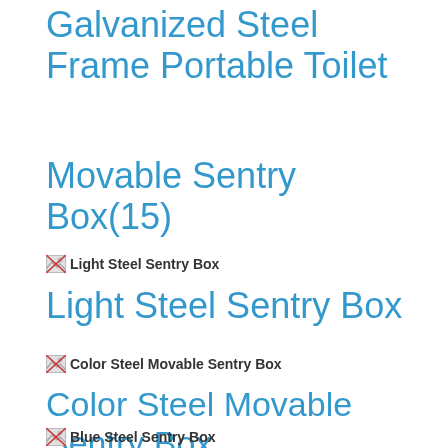Galvanized Steel Frame Portable Toilet
Movable Sentry Box(15)
[Figure (photo): Broken image placeholder for Light Steel Sentry Box]
Light Steel Sentry Box
[Figure (photo): Broken image placeholder for Color Steel Movable Sentry Box]
Color Steel Movable Sentry Box
[Figure (photo): Broken image placeholder for Blue Steel Sentry Box]